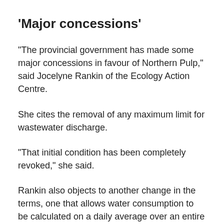'Major concessions'
"The provincial government has made some major concessions in favour of Northern Pulp," said Jocelyne Rankin of the Ecology Action Centre.
She cites the removal of any maximum limit for wastewater discharge.
"That initial condition has been completely revoked," she said.
Rankin also objects to another change in the terms, one that allows water consumption to be calculated on a daily average over an entire year.